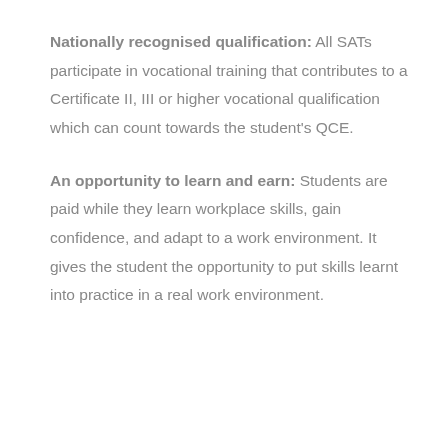Nationally recognised qualification: All SATs participate in vocational training that contributes to a Certificate II, III or higher vocational qualification which can count towards the student's QCE.
An opportunity to learn and earn: Students are paid while they learn workplace skills, gain confidence, and adapt to a work environment. It gives the student the opportunity to put skills learnt into practice in a real work environment.